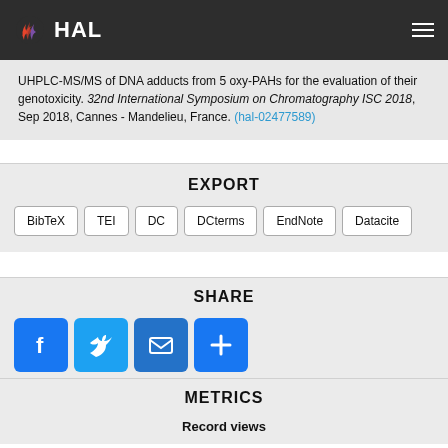HAL
UHPLC-MS/MS of DNA adducts from 5 oxy-PAHs for the evaluation of their genotoxicity. 32nd International Symposium on Chromatography ISC 2018, Sep 2018, Cannes - Mandelieu, France. (hal-02477589)
EXPORT
BibTeX | TEI | DC | DCterms | EndNote | Datacite
SHARE
[Figure (infographic): Social share buttons: Facebook, Twitter, Email, More]
METRICS
Record views